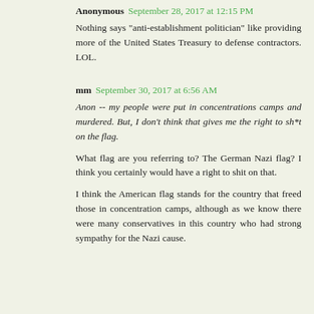Anonymous September 28, 2017 at 12:15 PM
Nothing says "anti-establishment politician" like providing more of the United States Treasury to defense contractors. LOL.
mm September 30, 2017 at 6:56 AM
Anon -- my people were put in concentrations camps and murdered. But, I don't think that gives me the right to sh*t on the flag.
What flag are you referring to? The German Nazi flag? I think you certainly would have a right to shit on that.
I think the American flag stands for the country that freed those in concentration camps, although as we know there were many conservatives in this country who had strong sympathy for the Nazi cause.